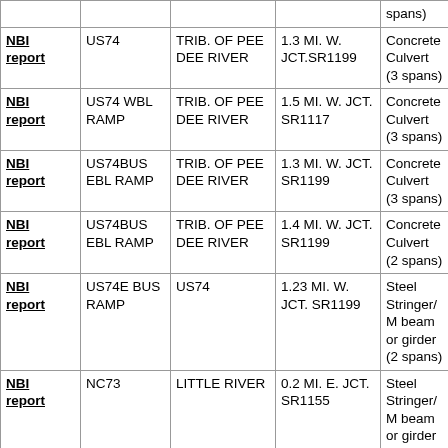|  | Route | Feature Intersected | Location | Structure Type |
| --- | --- | --- | --- | --- |
|  |  |  |  | spans) |
| NBI report | US74 | TRIB. OF PEE DEE RIVER | 1.3 MI. W. JCT.SR1199 | Concrete Culvert (3 spans) |
| NBI report | US74 WBL RAMP | TRIB. OF PEE DEE RIVER | 1.5 MI. W. JCT. SR1117 | Concrete Culvert (3 spans) |
| NBI report | US74BUS EBL RAMP | TRIB. OF PEE DEE RIVER | 1.3 MI. W. JCT. SR1199 | Concrete Culvert (3 spans) |
| NBI report | US74BUS EBL RAMP | TRIB. OF PEE DEE RIVER | 1.4 MI. W. JCT. SR1199 | Concrete Culvert (2 spans) |
| NBI report | US74E BUS RAMP | US74 | 1.23 MI. W. JCT. SR1199 | Steel Stringer/Multi beam or girder (2 spans) |
| NBI report | NC73 | LITTLE RIVER | 0.2 MI. E. JCT. SR1155 | Steel Stringer/Multi beam or girder (3 spans) |
| NBI report | NC73 | LITTLE RIVER OVERFLOW | 0.2 MI. W. JCT. SR1154 | Prestressed Slab (5 spans) |
| NBI report | SR1148 | MOUNTAIN CREEK | 0.7 MI. E. JCT. SR1148 | Prestress Stringer/M... |